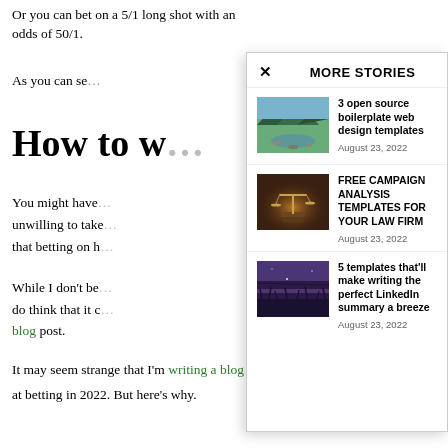Or you can bet on a 5/1 long shot with an odds of 50/1.
As you can se…
How to w…
You might have… unwilling to take… that betting on h…
While I don't be… do think that it … blog post.
It may seem strange that I'm writing a blog post about how to win at betting in 2022. But here's why.
MORE STORIES
[Figure (photo): Landscape photo of a mountain river with trees and rocks]
3 open source boilerplate web design templates
August 23, 2022
[Figure (photo): Photo of a golden justice scale on a dark background]
FREE CAMPAIGN ANALYSIS TEMPLATES FOR YOUR LAW FIRM
August 23, 2022
[Figure (photo): Purple twilight sky with grass silhouettes]
5 templates that'll make writing the perfect LinkedIn summary a breeze
August 23, 2022